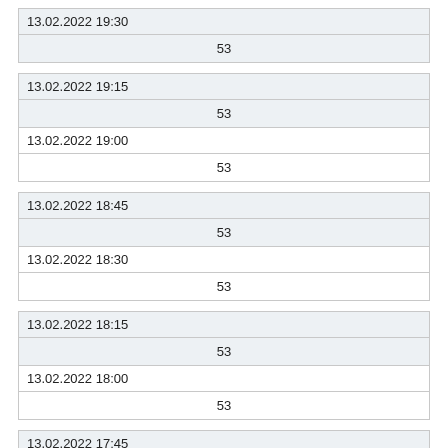| 13.02.2022 19:30 |
| 53 |
| 13.02.2022 19:15 |
| 53 |
| 13.02.2022 19:00 |
| 53 |
| 13.02.2022 18:45 |
| 53 |
| 13.02.2022 18:30 |
| 53 |
| 13.02.2022 18:15 |
| 53 |
| 13.02.2022 18:00 |
| 53 |
| 13.02.2022 17:45 |